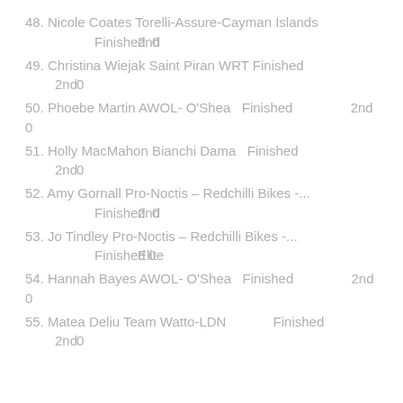48. Nicole Coates Torelli-Assure-Cayman Islands Finished 2nd 0
49. Christina Wiejak Saint Piran WRT Finished 2nd 0
50. Phoebe Martin AWOL- O'Shea Finished 2nd 0
51. Holly MacMahon Bianchi Dama Finished 2nd 0
52. Amy Gornall Pro-Noctis – Redchilli Bikes -... Finished 2nd 0
53. Jo Tindley Pro-Noctis – Redchilli Bikes -... Finished Elite 0
54. Hannah Bayes AWOL- O'Shea Finished 2nd 0
55. Matea Deliu Team Watto-LDN Finished 2nd 0